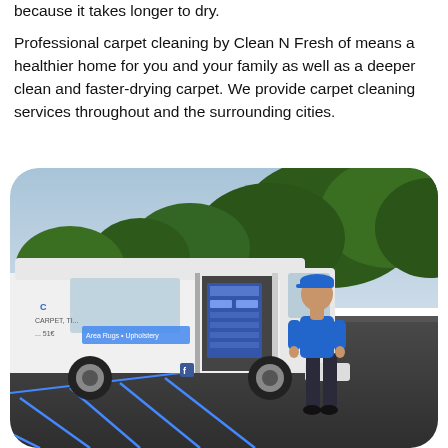because it takes longer to dry.
Professional carpet cleaning by Clean N Fresh of means a healthier home for you and your family as well as a deeper clean and faster-drying carpet. We provide carpet cleaning services throughout and the surrounding cities.
[Figure (photo): A white carpet cleaning van with the door open revealing equipment inside, and a man in a blue shirt and cap standing next to it in a parking lot with trees in the background.]